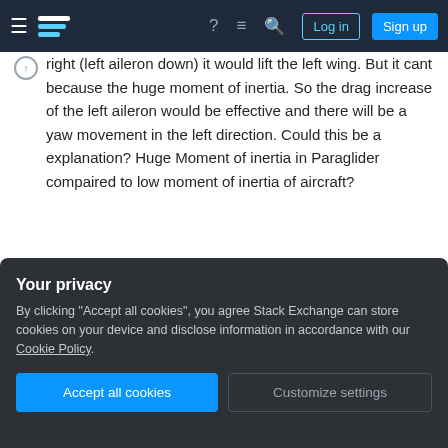Stack Exchange navigation bar with hamburger menu, logo, help, feedback, search icons, Log in and Sign up buttons
right (left aileron down) it would lift the left wing. But it cant because the huge moment of inertia. So the drag increase of the left aileron would be effective and there will be a yaw movement in the left direction. Could this be a explanation? Huge Moment of inertia in Paraglider compaired to low moment of inertia of aircraft?
Share
Improve this answer
Follow
edited Aug 30, 2021 at 8:30
Your privacy
By clicking "Accept all cookies", you agree Stack Exchange can store cookies on your device and disclose information in accordance with our Cookie Policy.
Accept all cookies
Customize settings